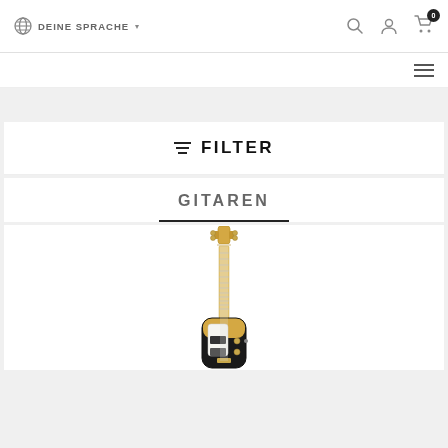DEINE SPRACHE
FILTER
GITAREN
[Figure (photo): An electric guitar (Telecaster-style) with a maple neck, black body with yellow natural top finish, displayed vertically against a white background.]